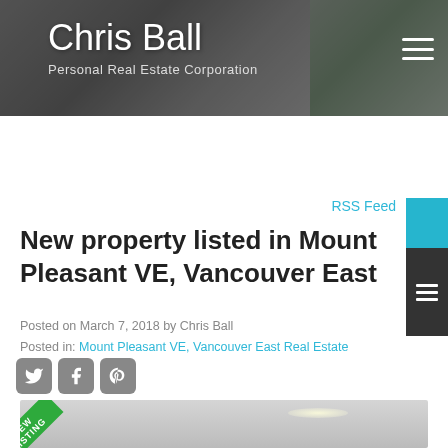Chris Ball – Personal Real Estate Corporation
RSS Feed
New property listed in Mount Pleasant VE, Vancouver East
Posted on March 7, 2018 by Chris Ball
Posted in: Mount Pleasant VE, Vancouver East Real Estate
[Figure (photo): Property listing photo with NEW LISTING ribbon banner in green]
[Figure (illustration): Social media share icons for Twitter, Facebook, and Pinterest]